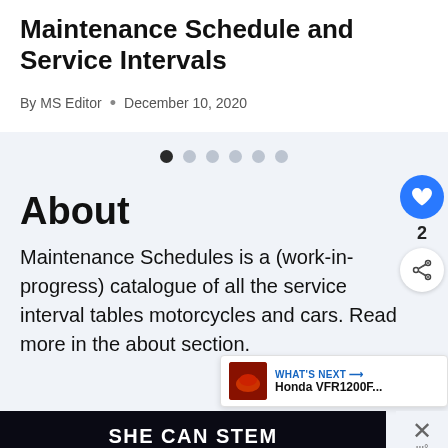Maintenance Schedule and Service Intervals
By MS Editor • December 10, 2020
[Figure (infographic): Carousel navigation dots — one filled dark, five light grey]
About
Maintenance Schedules is a (work-in-progress) catalogue of all the service interval tables motorcycles and cars. Read more in the about section.
[Figure (infographic): WHAT'S NEXT arrow label with Honda VFR1200F... thumbnail and title]
[Figure (infographic): Ad banner reading SHE CAN STEM on dark background with close X button]